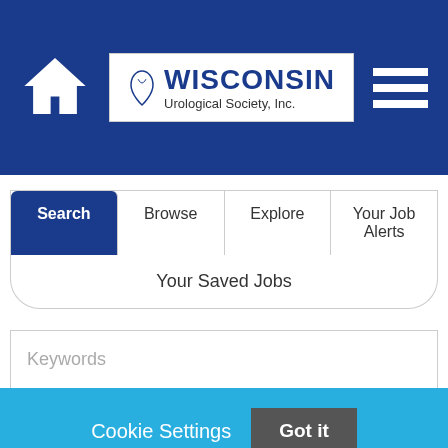[Figure (logo): Wisconsin Urological Society, Inc. logo with home icon and hamburger menu on a dark blue navigation bar]
Search | Browse | Explore | Your Job Alerts
Your Saved Jobs
Keywords
Cookie Settings
Got it
We use cookies so that we can remember you and understand how you use our site. If you do not agree with our use of cookies, please change the current settings found in our Cookie Policy. Otherwise, you agree to the use of the cookies as they are currently set.